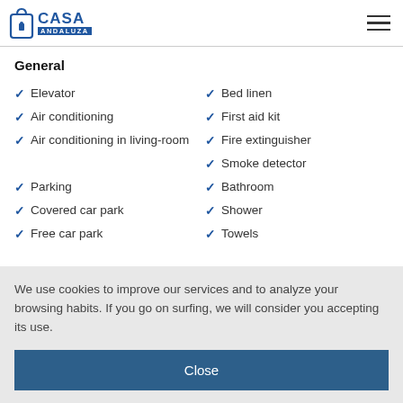Casa Andaluza
General
Elevator
Bed linen
Air conditioning
First aid kit
Air conditioning in living-room
Fire extinguisher
Smoke detector
Parking
Bathroom
Covered car park
Shower
Free car park
Towels
We use cookies to improve our services and to analyze your browsing habits. If you go on surfing, we will consider you accepting its use.
Close